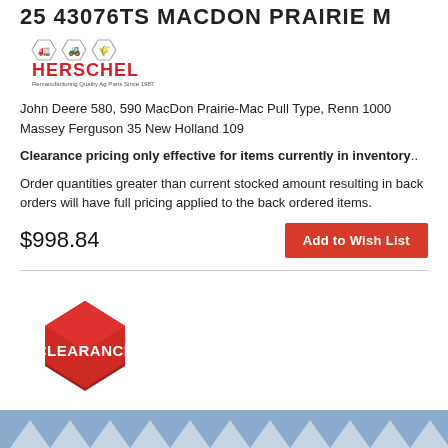25 43076TS MACDON PRAIRIE M
[Figure (logo): Herschel company logo with vehicle icons above and tagline below]
John Deere 580, 590 MacDon Prairie-Mac Pull Type, Renn 1000 Massey Ferguson 35 New Holland 109
Clearance pricing only effective for items currently in inventory..
Order quantities greater than current stocked amount resulting in back orders will have full pricing applied to the back ordered items.
$998.84
Add to Wish List
[Figure (illustration): Red 3D hexagonal CLEARANCE badge/stamp graphic]
[Figure (illustration): Blue-grey banner at the bottom with white chevron/arrow pattern shapes]